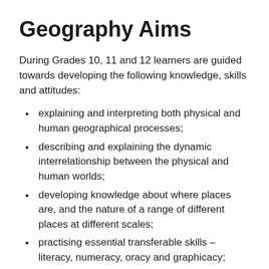Geography Aims
During Grades 10, 11 and 12 learners are guided towards developing the following knowledge, skills and attitudes:
explaining and interpreting both physical and human geographical processes;
describing and explaining the dynamic interrelationship between the physical and human worlds;
developing knowledge about where places are, and the nature of a range of different places at different scales;
practising essential transferable skills – literacy, numeracy, oracy and graphicacy;